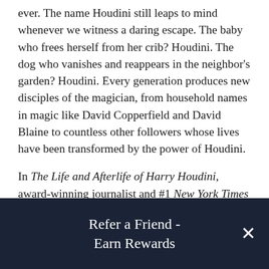ever. The name Houdini still leaps to mind whenever we witness a daring escape. The baby who frees herself from her crib? Houdini. The dog who vanishes and reappears in the neighbor's garden? Houdini. Every generation produces new disciples of the magician, from household names in magic like David Copperfield and David Blaine to countless other followers whose lives have been transformed by the power of Houdini.
In The Life and Afterlife of Harry Houdini, award-winning journalist and #1 New York Times bestselling author Joe Posnanski enters Houdini World to understand why the magician still enthralls people. Posnanski immerses himself in Houdini's past and
Refer a Friend - Earn Rewards